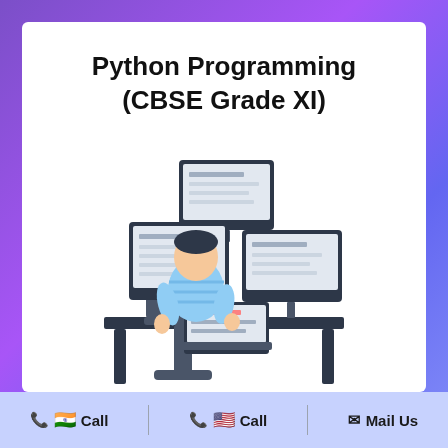Python Programming (CBSE Grade XI)
[Figure (illustration): Illustration of a person sitting at a desk working on a laptop with three monitors displaying code, viewed from behind]
📞 🇮🇳 Call   📞 🇺🇸 Call   ✉ Mail Us